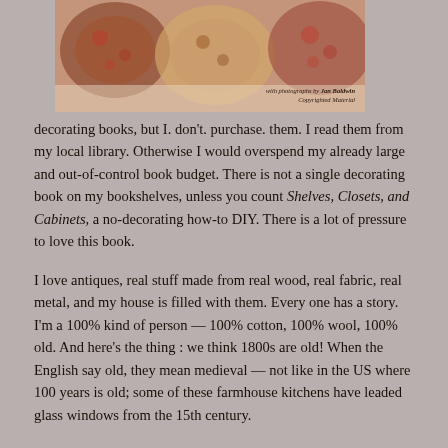[Figure (photo): Partial photo of decorative pillows and fabric with floral patterns, with caption 'with photographs by Jan Baldwin' and 'Copyrighted Material']
decorating books, but I. don't. purchase. them. I read them from my local library. Otherwise I would overspend my already large and out-of-control book budget. There is not a single decorating book on my bookshelves, unless you count Shelves, Closets, and Cabinets, a no-decorating how-to DIY. There is a lot of pressure to love this book.
I love antiques, real stuff made from real wood, real fabric, real metal, and my house is filled with them. Every one has a story. I'm a 100% kind of person — 100% cotton, 100% wool, 100% old. And here's the thing : we think 1800s are old! When the English say old, they mean medieval — not like in the US where 100 years is old; some of these farmhouse kitchens have leaded glass windows from the 15th century.